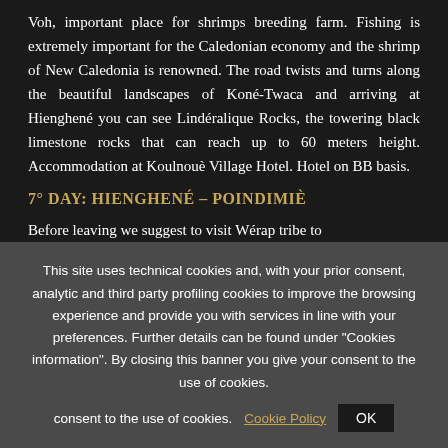Voh, important place for shrimps breeding farm. Fishing is extremely important for the Caledonian economy and the shrimp of New Caledonia is renowned. The road twists and turns along the beautiful landscapes of Koné-Twaca and arriving at Hienghené you can see Lindéralique Rocks, the towering black limestone rocks that can reach up to 60 meters height. Accommodation at Koulnouè Village Hotel. Hotel on BB basis.
7° DAY: HIENGHENÉ – POINDIMIÈ
Before leaving we suggest to visit Wérap tribe to
This site uses technical cookies and, with your prior consent, analytic and third party profiling cookies to improve the browsing experience and provide you with services in line with your preferences. Further details can be found under "Cookies information". By closing this banner you give your consent to the use of cookies. Cookie Policy OK